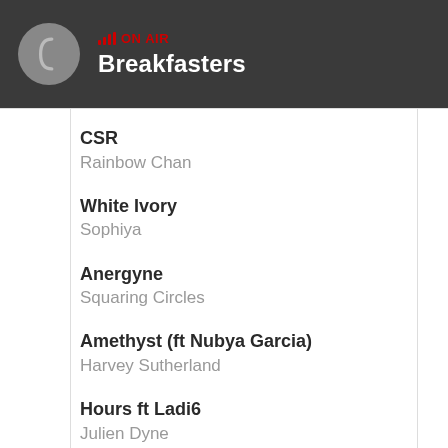ON AIR Breakfasters
CSR
Rainbow Chan
White Ivory
Sophiya
Anergyne
Squaring Circles
Amethyst (ft Nubya Garcia)
Harvey Sutherland
Hours ft Ladi6
Julien Dyne
Akila
Total Giovanni
Line In the Dirt
...